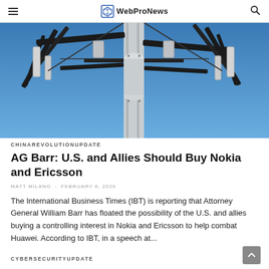WebProNews
[Figure (photo): Close-up photo of a cell tower / telecommunications mast with antennas against a blue sky]
CHINAREVOLUTIONUPDATE
AG Barr: U.S. and Allies Should Buy Nokia and Ericsson
MATT MILANO  -  FEBRUARY 6, 2020
The International Business Times (IBT) is reporting that Attorney General William Barr has floated the possibility of the U.S. and allies buying a controlling interest in Nokia and Ericsson to help combat Huawei. According to IBT, in a speech at...
CYBERSECURITYUPDATE